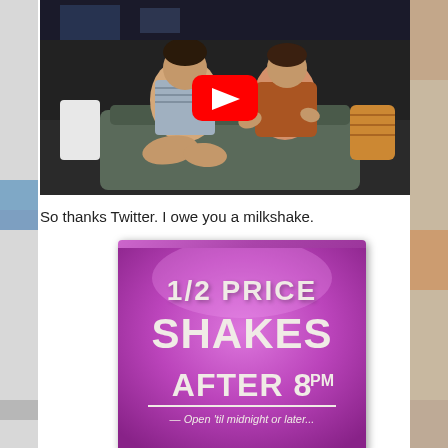[Figure (screenshot): YouTube video thumbnail showing two women sitting on a couch having a conversation, with a red YouTube play button overlay in the center]
So thanks Twitter. I owe you a milkshake.
[Figure (photo): A lit promotional sign with purple/magenta background and cream-colored text reading '1/2 PRICE SHAKES AFTER 8PM — Open 'til midnight or later...']